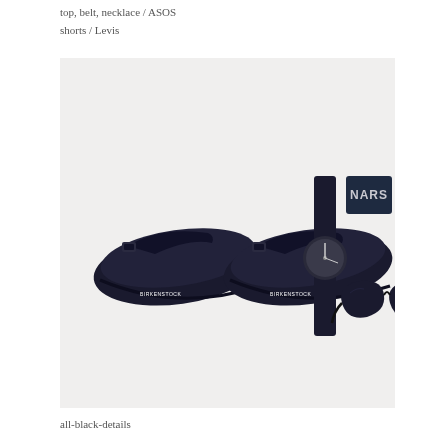top, belt, necklace / ASOS
shorts / Levis
[Figure (photo): Flat lay photo on a white background showing: a pair of black Birkenstock slide sandals (two sandals side by side), a black watch with round face, a NARS makeup compact (dark blue/navy), and black sunglasses with cat-eye frames.]
all-black-details